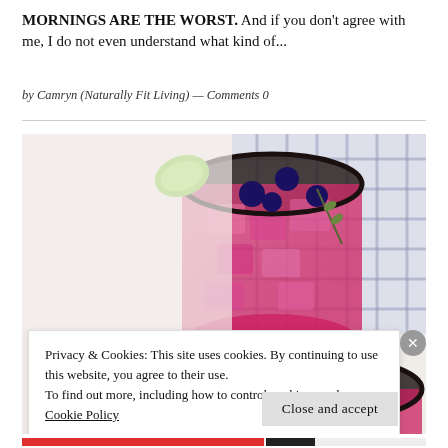MORNINGS ARE THE WORST. And if you don't agree with me, I do not even understand what kind of...
by Camryn (Naturally Fit Living) — Comments 0
[Figure (photo): Overhead flat-lay photo of two glasses of pink/magenta iced drinks garnished with blueberries, lime slices, and fresh thyme sprigs on a white surface with a blue-and-white checkered cloth.]
Privacy & Cookies: This site uses cookies. By continuing to use this website, you agree to their use.
To find out more, including how to control cookies, see here:
Cookie Policy
Close and accept